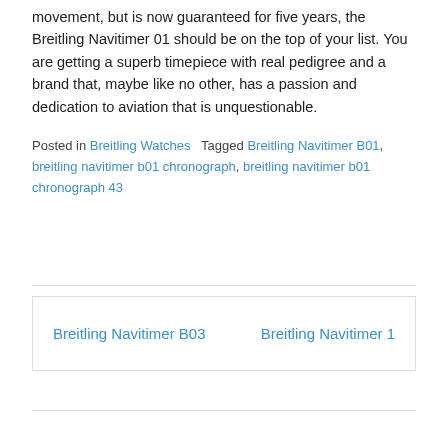movement, but is now guaranteed for five years, the Breitling Navitimer 01 should be on the top of your list. You are getting a superb timepiece with real pedigree and a brand that, maybe like no other, has a passion and dedication to aviation that is unquestionable.
Posted in Breitling Watches Tagged Breitling Navitimer B01, breitling navitimer b01 chronograph, breitling navitimer b01 chronograph 43
Breitling Navitimer B03   Breitling Navitimer 1